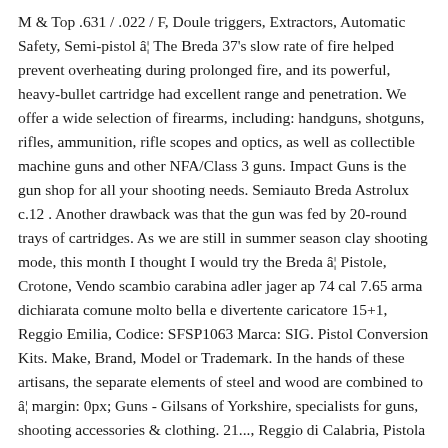M & Top .631 / .022 / F, Doule triggers, Extractors, Automatic Safety, Semi-pistol â¦ The Breda 37's slow rate of fire helped prevent overheating during prolonged fire, and its powerful, heavy-bullet cartridge had excellent range and penetration. We offer a wide selection of firearms, including: handguns, shotguns, rifles, ammunition, rifle scopes and optics, as well as collectible machine guns and other NFA/Class 3 guns. Impact Guns is the gun shop for all your shooting needs. Semiauto Breda Astrolux c.12 . Another drawback was that the gun was fed by 20-round trays of cartridges. As we are still in summer season clay shooting mode, this month I thought I would try the Breda â¦ Pistole, Crotone, Vendo scambio carabina adler jager ap 74 cal 7.65 arma dichiarata comune molto bella e divertente caricatore 15+1, Reggio Emilia, Codice: SFSP1063 Marca: SIG. Pistol Conversion Kits. Make, Brand, Model or Trademark. In the hands of these artisans, the separate elements of steel and wood are combined to â¦ margin: 0px; Guns - Gilsans of Yorkshire, specialists for guns, shooting accessories & clothing. 21..., Reggio di Calabria, Pistola Glock Mod.45,Cal â¦ } The Mitragliatrice Breda calibro 8 modello 37 (commonly known as the Breda mod. A common misnomer, the Breda 37 does contain a camming mechanism for initial extraction of the cartridge case after firing, which means that each cartridge does not to be oiled before being fed into the chamber.